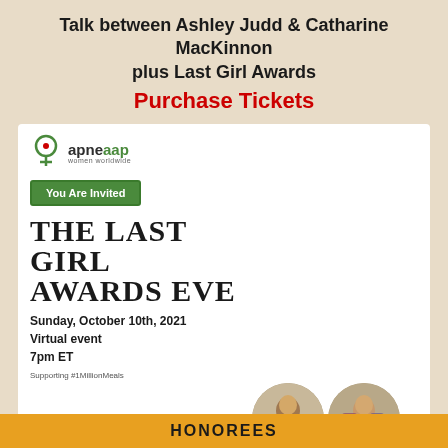Talk between Ashley Judd & Catharine MacKinnon plus Last Girl Awards
Purchase Tickets
[Figure (infographic): Apne Aap Women Worldwide event flyer for The Last Girl Awards Eve, featuring logo, You Are Invited button, event details, keynote conversation by Catharine MacKinnon & Ashley Judd, host committee names, and circular photos of two women]
HONOREES